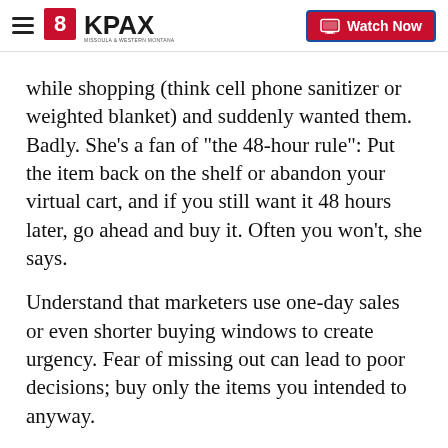8KPAX | Watch Now
while shopping (think cell phone sanitizer or weighted blanket) and suddenly wanted them. Badly. She’s a fan of “the 48-hour rule”: Put the item back on the shelf or abandon your virtual cart, and if you still want it 48 hours later, go ahead and buy it. Often you won’t, she says.
Understand that marketers use one-day sales or even shorter buying windows to create urgency. Fear of missing out can lead to poor decisions; buy only the items you intended to anyway.
Know the trouble with coupons
Coup
[Figure (logo): Garden City Granite logo with decorative script lettering and ornamental flourish]